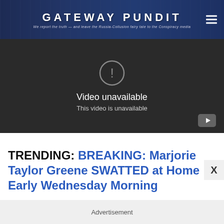GATEWAY PUNDIT — We report the truth — and leave the Russia-Collusion fairy tale to the Conspiracy media
[Figure (screenshot): YouTube embedded video player showing 'Video unavailable / This video is unavailable' error message on dark background]
TRENDING: BREAKING: Marjorie Taylor Greene SWATTED at Home Early Wednesday Morning
Advertisement